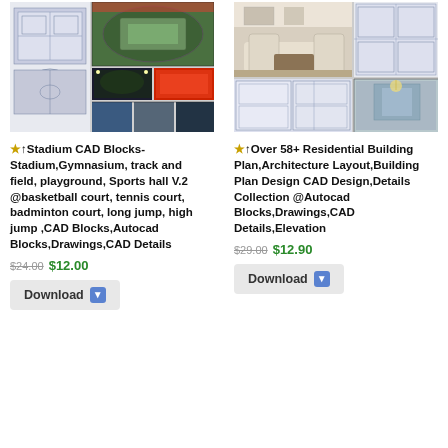[Figure (photo): Stadium CAD blocks collage: blueprint plans, aerial stadium photo, indoor arena, night stadium, court photo]
★↑Stadium CAD Blocks-Stadium,Gymnasium, track and field, playground, Sports hall V.2  @basketball court, tennis court, badminton court, long jump, high jump ,CAD Blocks,Autocad Blocks,Drawings,CAD Details
$24.00  $12.00
Download
[Figure (photo): Residential building plan collage: living room interior, floor plan blueprints, chandelier room photo]
★↑Over 58+ Residential Building Plan,Architecture Layout,Building Plan Design CAD Design,Details Collection  @Autocad Blocks,Drawings,CAD Details,Elevation
$29.00  $12.90
Download